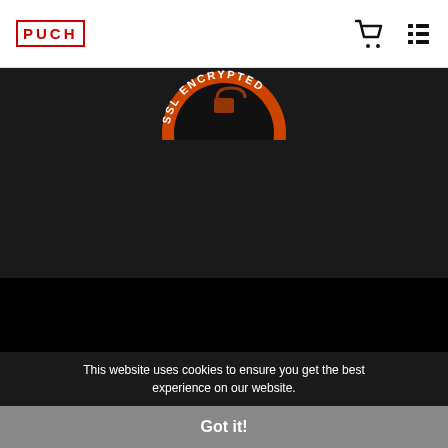PUCH (logo) | cart icon | menu icon
[Figure (illustration): Partial SSL ENCRYPTED badge/seal in orange and white on dark background]
Info
© Copyright 2022
All Rights Reserved
This website uses cookies to ensure you get the best experience on our website.
Got it!